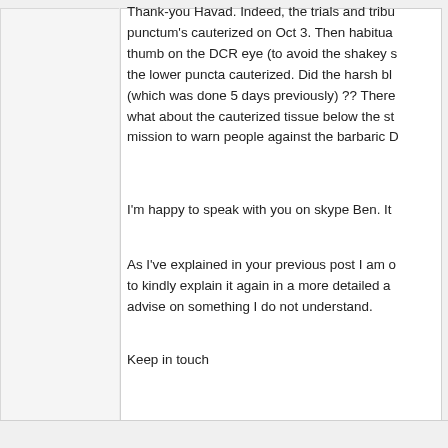Thank-you Havad. Indeed, the trials and tribu punctum's cauterized on Oct 3. Then habitua thumb on the DCR eye (to avoid the shakey s the lower puncta cauterized. Did the harsh bl (which was done 5 days previously) ?? There what about the cauterized tissue below the st mission to warn people against the barbaric D
I'm happy to speak with you on skype Ben. It
As I've explained in your previous post I am o to kindly explain it again in a more detailed a advise on something I do not understand.
Keep in touch